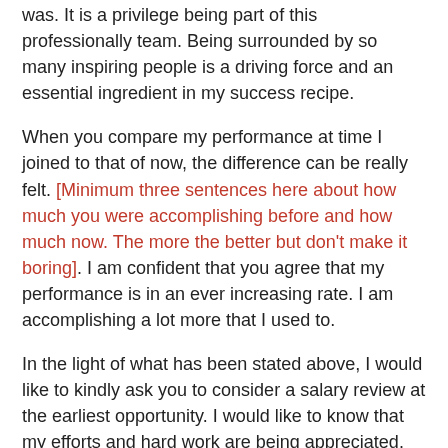was. It is a privilege being part of this professionally team. Being surrounded by so many inspiring people is a driving force and an essential ingredient in my success recipe.
When you compare my performance at time I joined to that of now, the difference can be really felt. [Minimum three sentences here about how much you were accomplishing before and how much now. The more the better but don't make it boring]. I am confident that you agree that my performance is in an ever increasing rate. I am accomplishing a lot more that I used to.
In the light of what has been stated above, I would like to kindly ask you to consider a salary review at the earliest opportunity. I would like to know that my efforts and hard work are being appreciated. The company is interested in productivity which is something I am continuously providing and shall always do.